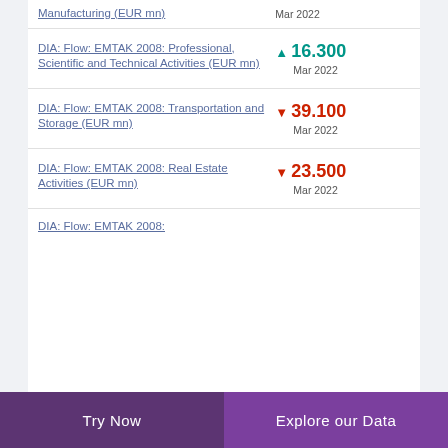Manufacturing (EUR mn) — Mar 2022
DIA: Flow: EMTAK 2008: Professional, Scientific and Technical Activities (EUR mn) — ▲ 16.300 — Mar 2022
DIA: Flow: EMTAK 2008: Transportation and Storage (EUR mn) — ▼ 39.100 — Mar 2022
DIA: Flow: EMTAK 2008: Real Estate Activities (EUR mn) — ▼ 23.500 — Mar 2022
DIA: Flow: EMTAK 2008: (partial)
Try Now | Explore our Data